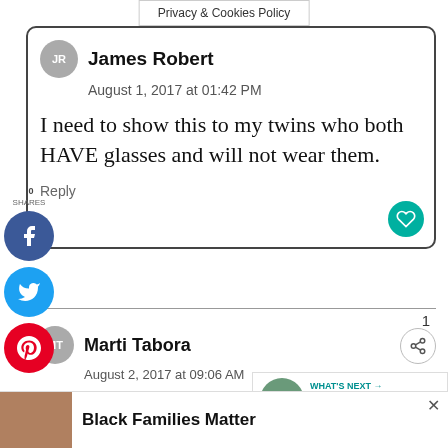Privacy & Cookies Policy
James Robert
August 1, 2017 at 01:42 PM
I need to show this to my twins who both HAVE glasses and will not wear them.
Reply
Marti Tabora
August 2, 2017 at 09:06 AM
I really love this campaign. I hate the thought of
[Figure (screenshot): Social media share buttons: Facebook (blue), Twitter (light blue), Pinterest (red), with 0 SHARES label]
[Figure (infographic): Advertisement: Black Families Matter with photo of people]
[Figure (infographic): What's Next: Visionworks Let's Go See... promotional thumbnail]